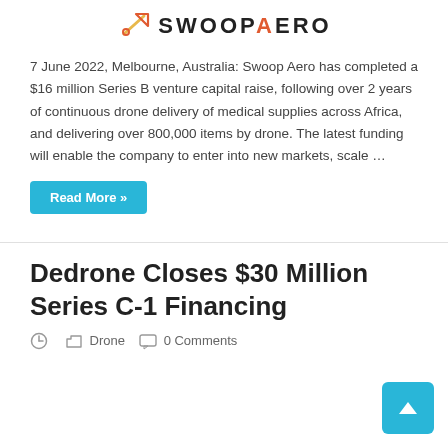[Figure (logo): Swoop Aero logo with stylized rocket/plane icon and company name in bold black uppercase letters with orange A]
7 June 2022, Melbourne, Australia: Swoop Aero has completed a $16 million Series B venture capital raise, following over 2 years of continuous drone delivery of medical supplies across Africa, and delivering over 800,000 items by drone. The latest funding will enable the company to enter into new markets, scale …
Read More »
Dedrone Closes $30 Million Series C-1 Financing
Drone  0 Comments